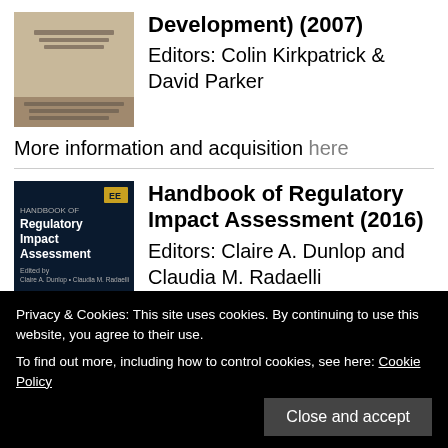[Figure (illustration): Book cover of a regulatory handbook, tan/grey color with text]
Development) (2007) Editors: Colin Kirkpatrick & David Parker
More information and acquisition here
[Figure (illustration): Book cover of Handbook of Regulatory Impact Assessment, dark blue with EE logo]
[Figure (illustration): Colorful spectrum/rainbow gradient book cover bottom portion]
Handbook of Regulatory Impact Assessment (2016) Editors: Claire A. Dunlop and Claudia M. Radaelli
Privacy & Cookies: This site uses cookies. By continuing to use this website, you agree to their use. To find out more, including how to control cookies, see here: Cookie Policy